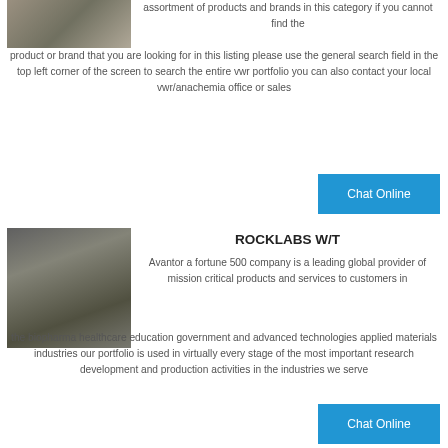[Figure (photo): Industrial machinery or equipment, partial view at top of page]
assortment of products and brands in this category if you cannot find the product or brand that you are looking for in this listing please use the general search field in the top left corner of the screen to search the entire vwr portfolio you can also contact your local vwr/anachemia office or sales
[Figure (other): Blue Chat Online button]
[Figure (photo): Industrial mining or crushing machinery]
ROCKLABS W/T
Avantor a fortune 500 company is a leading global provider of mission critical products and services to customers in the biopharma healthcare education government and advanced technologies applied materials industries our portfolio is used in virtually every stage of the most important research development and production activities in the industries we serve
[Figure (other): Blue Chat Online button]
[Figure (photo): Industrial roll crusher milling equipment, partially visible]
Roll Crusher Milling